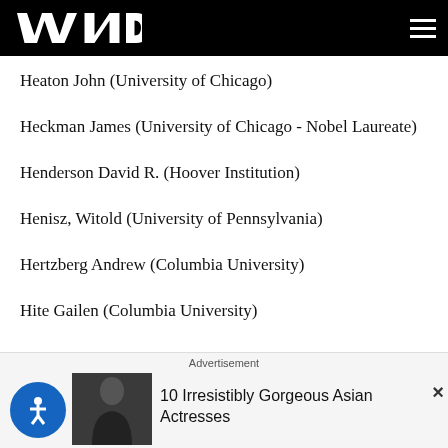WND
Heaton John (University of Chicago)
Heckman James (University of Chicago - Nobel Laureate)
Henderson David R. (Hoover Institution)
Henisz, Witold (University of Pennsylvania)
Hertzberg Andrew (Columbia University)
Hite Gailen (Columbia University)
Advertisement
10 Irresistibly Gorgeous Asian Actresses